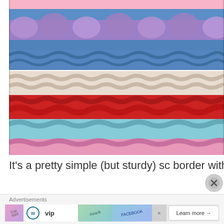[Figure (photo): Close-up photo of colorful crochet stitches in horizontal stripes: pink at top, blue, purple, blue, cream/white, red, light blue/teal, and pink at bottom]
It's a pretty simple (but sturdy) sc border with a cute
[Figure (other): Advertisement banner with WordPress VIP logo, social media brand icons (Slack, Facebook), and 'Learn more →' button]